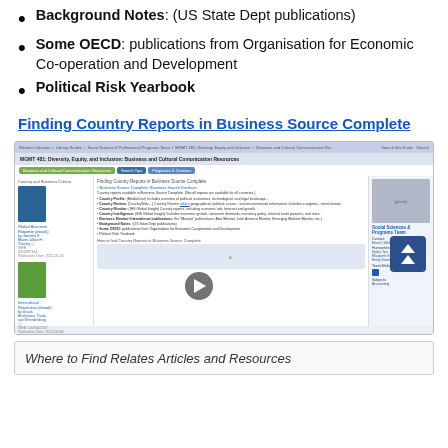Background Notes: (US State Dept publications)
Some OECD: publications from Organisation for Economic Co-operation and Development
Political Risk Yearbook
Finding Country Reports in Business Source Complete
[Figure (screenshot): Screenshot of a LibGuide page for MGMT 481: Diversity, Equity, and Inclusion: Business and Cultural Communication Resources, showing tabs for Business and Cultural Communication Resources, Search Tips, and Plagiarism & Citations. The page shows a section on Finding Country Reports in Business Source Complete with bullet points about Country Profile, Country Review, Country Monitor, Country Intelligence, Business Monitor International publications, Background Notes, Some OECD, and Political Risk Yearbook. Left panel shows book resources. Right panel shows Social Sciences & Programs Team contact info. A video play button is visible in the middle section.]
Where to Find Relates Articles and Resources